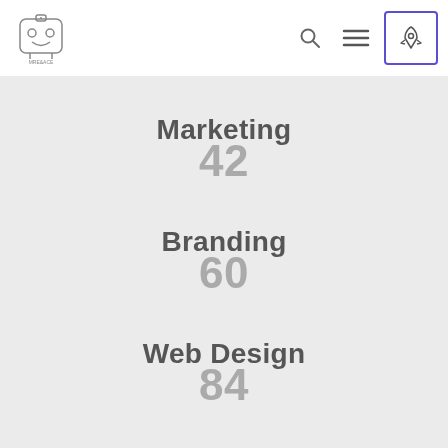Navigation bar with logo, search, menu and rocket icons
Marketing 42
Branding 60
Web Design 84